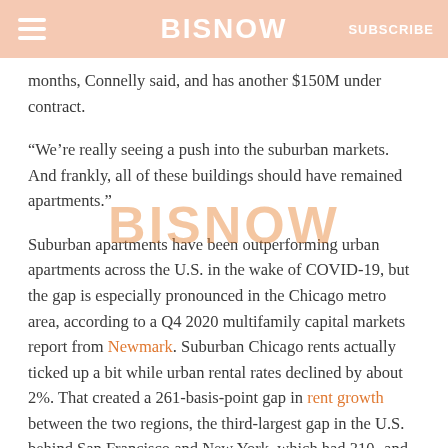BISNOW | SUBSCRIBE
months, Connelly said, and has another $150M under contract.
“We’re really seeing a push into the suburban markets. And frankly, all of these buildings should have remained apartments.”
Suburban apartments have been outperforming urban apartments across the U.S. in the wake of COVID-19, but the gap is especially pronounced in the Chicago metro area, according to a Q4 2020 multifamily capital markets report from Newmark. Suburban Chicago rents actually ticked up a bit while urban rental rates declined by about 2%. That created a 261-basis-point gap in rent growth between the two regions, the third-largest gap in the U.S. behind San Francisco and New York, which had 310- and 420-point gaps, respectively.